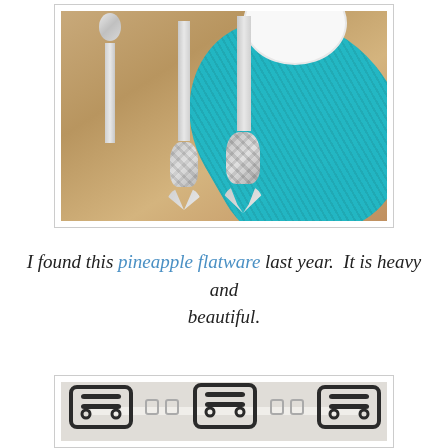[Figure (photo): Close-up photo of silver pineapple-motif flatware (spoon and two knives with decorative pineapple handles) resting on a teal braided placemat with a white plate in the background, on a sandy/stone surface.]
I found this pineapple flatware last year.  It is heavy and beautiful.
[Figure (photo): Partial view of outdoor dining furniture — ornate black iron chairs and a table, with glasses visible.]